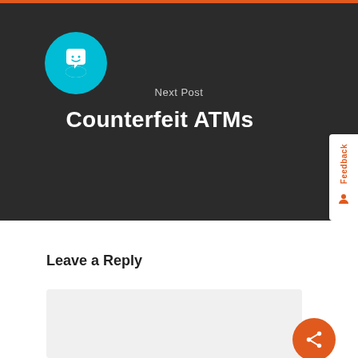[Figure (logo): Cyan circular avatar icon with chat bubble and smiley face]
Next Post
Counterfeit ATMs
Leave a Reply
[Figure (other): Light gray comment text area input box]
[Figure (other): Orange circular share button with share icon]